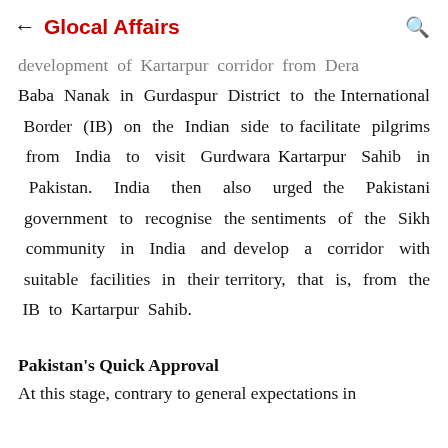← Glocal Affairs 🔍
development of Kartarpur corridor from Dera Baba Nanak in Gurdaspur District to the International Border (IB) on the Indian side to facilitate pilgrims from India to visit Gurdwara Kartarpur Sahib in Pakistan. India then also urged the Pakistani government to recognise the sentiments of the Sikh community in India and develop a corridor with suitable facilities in their territory, that is, from the IB to Kartarpur Sahib.
Pakistan's Quick Approval
At this stage, contrary to general expectations in